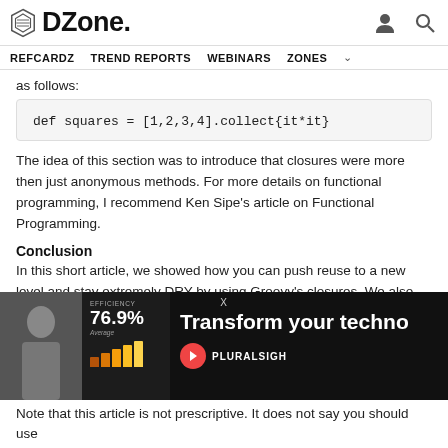DZone.
REFCARDZ   TREND REPORTS   WEBINARS   ZONES
as follows:
The idea of this section was to introduce that closures were more then just anonymous methods. For more details on functional programming, I recommend Ken Sipe's article on Functional Programming.
Conclusion
In this short article, we showed how you can push reuse to a new level and stay extremely DRY by using Groovy's closures. We also showed how to achieve the same by using method references and how methods an... m... us... mo...
[Figure (advertisement): Pluralsight advertisement showing a woman, efficiency stats (76.9%), and text: Transform your techno...]
Note that this article is not prescriptive. It does not say you should use